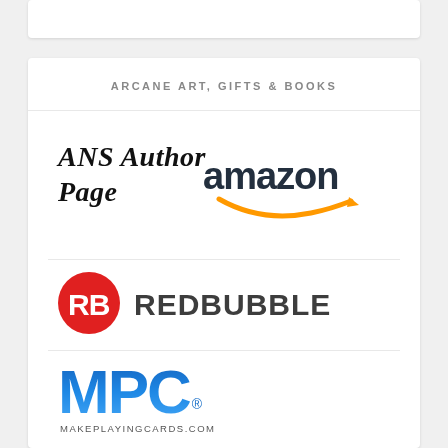ARCANE ART, GIFTS & BOOKS
[Figure (logo): ANS Author Page text in serif italic bold font overlapping with Amazon logo (dark text 'amazon' with orange smile arrow beneath)]
[Figure (logo): Redbubble logo: red circle with white 'RB' monogram icon followed by 'REDBUBBLE' in bold dark sans-serif]
[Figure (logo): MPC logo in blue gradient large letters with registered trademark symbol, subtitle 'MAKEPLAYINGCARDS.COM']